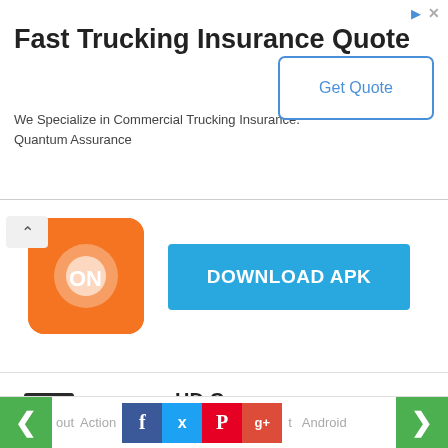[Figure (screenshot): Ad banner for Fast Trucking Insurance Quote by Quantum Assurance with Get Quote button]
Fast Trucking Insurance Quote
We Specialize in Commercial Trucking Insurance. Quantum Assurance
[Figure (screenshot): Orange app icon with ON logo and DOWNLOAD APK button]
DOWNLOAD APK
[Figure (screenshot): HD Camera app listing with camera photo icon]
HD Camera
photography   86778
DOWNLOAD APK
Popular Tags
out   Action   Android